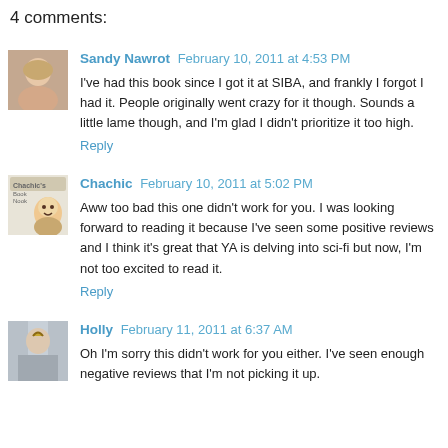4 comments:
Sandy Nawrot February 10, 2011 at 4:53 PM
I've had this book since I got it at SIBA, and frankly I forgot I had it. People originally went crazy for it though. Sounds a little lame though, and I'm glad I didn't prioritize it too high.
Reply
Chachic February 10, 2011 at 5:02 PM
Aww too bad this one didn't work for you. I was looking forward to reading it because I've seen some positive reviews and I think it's great that YA is delving into sci-fi but now, I'm not too excited to read it.
Reply
Holly February 11, 2011 at 6:37 AM
Oh I'm sorry this didn't work for you either. I've seen enough negative reviews that I'm not picking it up.